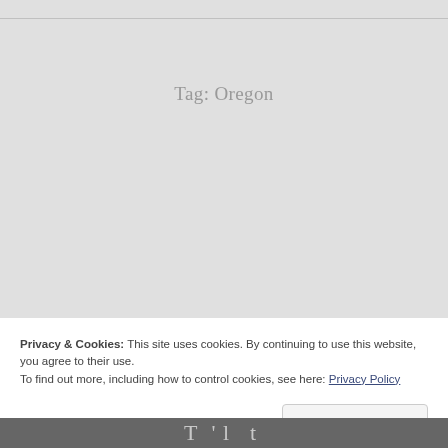Tag: Oregon
Privacy & Cookies: This site uses cookies. By continuing to use this website, you agree to their use.
To find out more, including how to control cookies, see here: Privacy Policy
Close and accept
T…l…t…